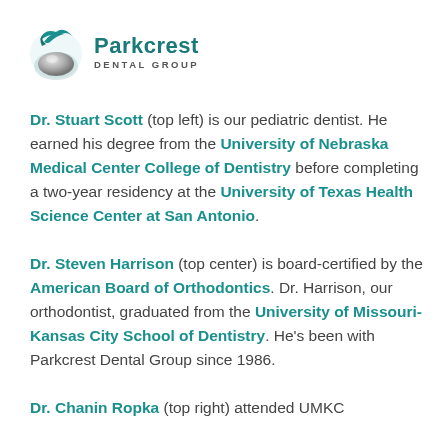[Figure (logo): Parkcrest Dental Group logo with teal bird/wave graphic and text]
Dr. Stuart Scott (top left) is our pediatric dentist. He earned his degree from the University of Nebraska Medical Center College of Dentistry before completing a two-year residency at the University of Texas Health Science Center at San Antonio.
Dr. Steven Harrison (top center) is board-certified by the American Board of Orthodontics. Dr. Harrison, our orthodontist, graduated from the University of Missouri-Kansas City School of Dentistry. He's been with Parkcrest Dental Group since 1986.
Dr. Chanin Ropka (top right) attended UMKC